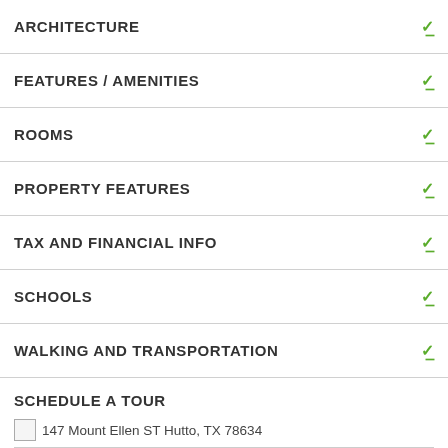ARCHITECTURE
FEATURES / AMENITIES
ROOMS
PROPERTY FEATURES
TAX AND FINANCIAL INFO
SCHOOLS
WALKING AND TRANSPORTATION
SCHEDULE A TOUR
147 Mount Ellen ST Hutto, TX 78634